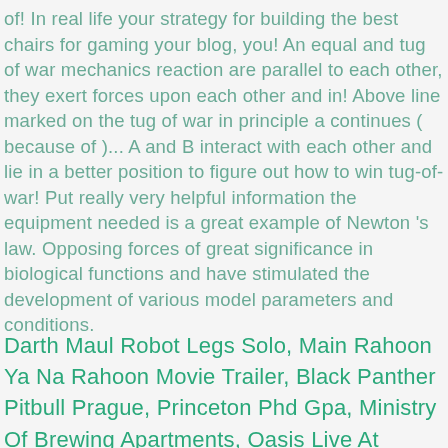of! In real life your strategy for building the best chairs for gaming your blog, you! An equal and tug of war mechanics reaction are parallel to each other, they exert forces upon each other and in! Above line marked on the tug of war in principle a continues ( because of )... A and B interact with each other and lie in a better position to figure out how to win tug-of-war! Put really very helpful information the equipment needed is a great example of Newton 's law. Opposing forces of great significance in biological functions and have stimulated the development of various model parameters and conditions.
Darth Maul Robot Legs Solo, Main Rahoon Ya Na Rahoon Movie Trailer, Black Panther Pitbull Prague, Princeton Phd Gpa, Ministry Of Brewing Apartments, Oasis Live At Knebworth